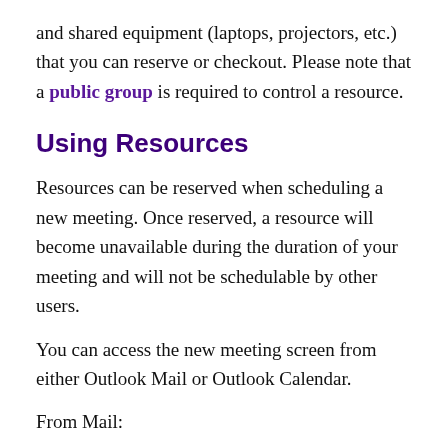and shared equipment (laptops, projectors, etc.) that you can reserve or checkout. Please note that a public group is required to control a resource.
Using Resources
Resources can be reserved when scheduling a new meeting. Once reserved, a resource will become unavailable during the duration of your meeting and will not be schedulable by other users.
You can access the new meeting screen from either Outlook Mail or Outlook Calendar.
From Mail:
Click New Items on the Home tab.
Click on Meeting in the drop down list.